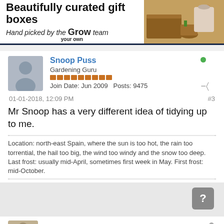[Figure (illustration): Advertisement banner: 'Beautifully curated gift boxes - Hand picked by the Grow your own team' with gardening gift box image on the right]
Snoop Puss
Gardening Guru
Join Date: Jun 2009  Posts: 9475
01-01-2018, 12:09 PM
#3
Mr Snoop has a very different idea of tidying up to me.
Location: north-east Spain, where the sun is too hot, the rain too torrential, the hail too big, the wind too windy and the snow too deep. Last frost: usually mid-April, sometimes first week in May. First frost: mid-October.
Martin H